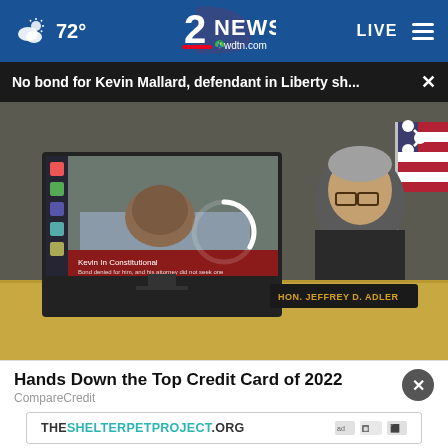72° | 2 NEWS wdtn.com | LIVE
No bond for Kevin Mallard, defendant in Liberty sh... ×
[Figure (photo): Courtroom scene showing a monitor with a person lying in a hospital bed on video call, and judge HON. JEFFREY D. ADLER seated at the bench wearing black robes with a US flag in the background. A loading spinner icon is visible in the center of the video.]
Hands Down the Top Credit Card of 2022
CompareCredit
THESHELTERPETPROJECT.ORG